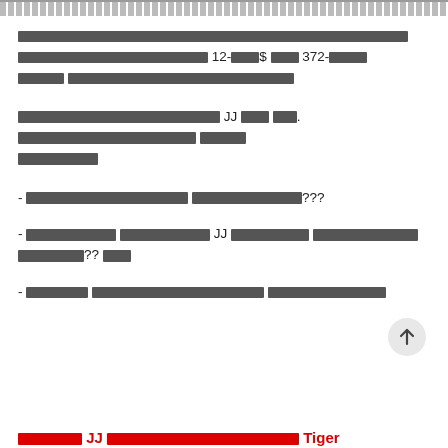[Thai text] 12-[Thai]$ [Thai] 372-[Thai] [Thai]
[Thai text] JJ [Thai] [Thai]. [Thai] [Thai]
- [Thai text]???
- [Thai] [Thai].JJ [Thai] JJ [Thai] [Thai]?? [Thai]
- [Thai] [Thai] [Thai]
[Thai] JJ [Thai] Tiger